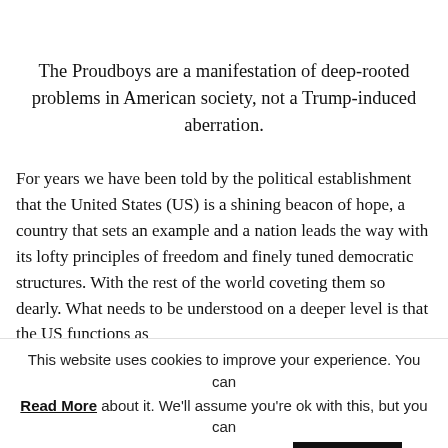The Proudboys are a manifestation of deep-rooted problems in American society, not a Trump-induced aberration.
For years we have been told by the political establishment that the United States (US) is a shining beacon of hope, a country that sets an example and a nation leads the way with its lofty principles of freedom and finely tuned democratic structures. With the rest of the world coveting them so dearly. What needs to be understood on a deeper level is that the US functions as
This website uses cookies to improve your experience. You can Read More about it. We'll assume you're ok with this, but you can opt-out if you wish. Cookie settings ACCEPT